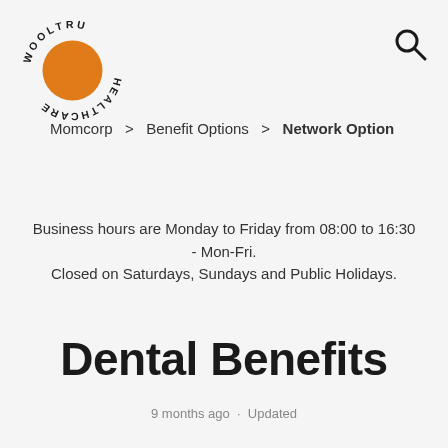[Figure (logo): Wooltru Healthcare circular logo with orange circle and text around the perimeter reading WOOLTRU HEALTHCARE]
Momcorp  >  Benefit Options  >  Network Option
Business hours are Monday to Friday from 08:00 to 16:30 - Mon-Fri.
Closed on Saturdays, Sundays and Public Holidays.
Dental Benefits
9 months ago · Updated